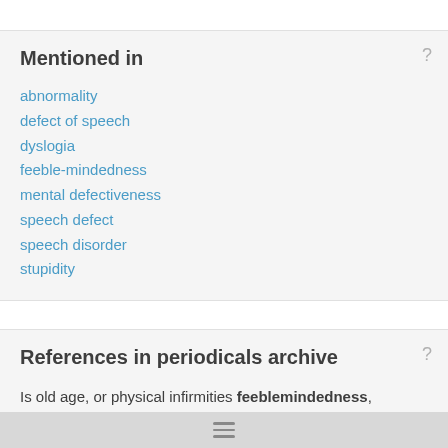Mentioned in
abnormality
defect of speech
dyslogia
feeble-mindedness
mental defectiveness
speech defect
speech disorder
stupidity
References in periodicals archive
Is old age, or physical infirmities feeblemindedness, weakness of memory, or other eccentricities enough to show that incapacity? Conclusively presumed